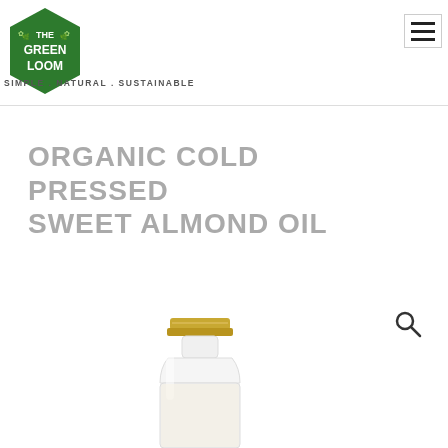[Figure (logo): The Green Loom hexagonal green logo with white text reading THE GREEN LOOM and leaf decorations]
[Figure (other): Hamburger menu icon with three horizontal lines inside a bordered box]
SIMPLE . NATURAL . SUSTAINABLE
ORGANIC COLD PRESSED SWEET ALMOND OIL
[Figure (other): Search magnifying glass icon]
[Figure (photo): Top portion of a small glass bottle with a gold metal cap, containing clear oil]